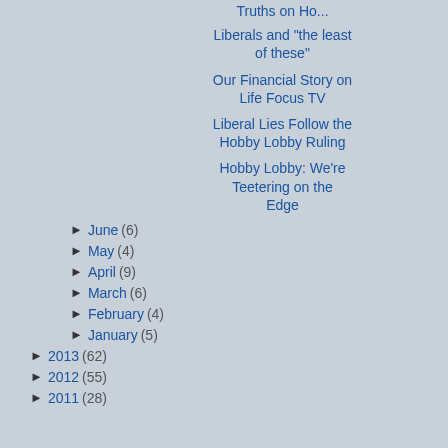Truths on Ho...
Liberals and "the least of these"
Our Financial Story on Life Focus TV
Liberal Lies Follow the Hobby Lobby Ruling
Hobby Lobby: We're Teetering on the Edge
► June (6)
► May (4)
► April (9)
► March (6)
► February (4)
► January (5)
► 2013 (62)
► 2012 (55)
► 2011 (28)
[Figure (photo): Photo of a man in a light blue dress shirt, partially cropped on the right side of the page]
73-yr-old entrepreneur issues big U.S. warning fro...
Investing Outlook
[Figure (photo): Advertisement image with dark background showing military dog tags with text 'TOXIC WATER LAWSUIT CAMP LEJEUNE' and 'FREE CASE REVIEW' in red]
Did you or a loved one serve or live at Camp Lejeune from...
Trulaw
Learn More